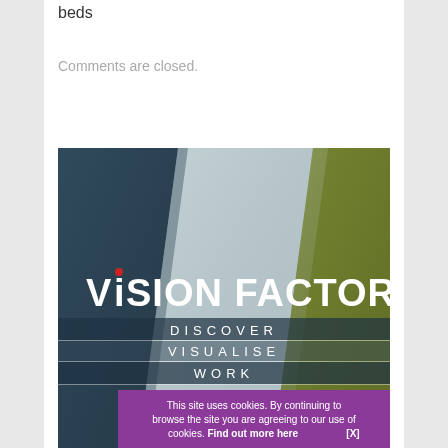beds
Comments are closed.
[Figure (illustration): Vision Factory advertisement banner with diagonal leather panel design (dark blue, light grey, olive green panels). Large white bold text reads 'ViSION FACTORY' with a red dot over the i. Below, spaced letters read 'DISCOVER', 'VISUALISE', 'WORK'. A purple cookie consent banner at the bottom reads: 'This site uses cookies. By continuing to browse the site you are agreeing to our use of cookies. Find out more here [X]']